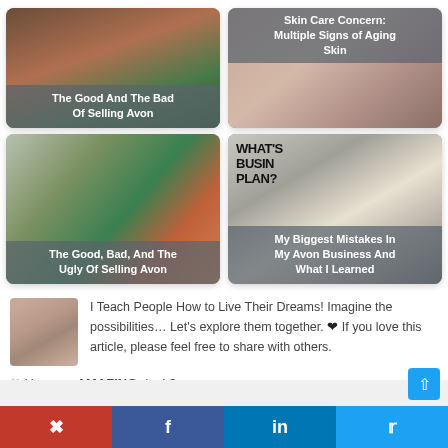[Figure (photo): Card: The Good And The Bad Of Selling Avon — photo of people with green/brown tones]
[Figure (photo): Card: Skin Care Concern: Multiple Signs of Aging Skin — close-up skin photo]
[Figure (photo): Card: The Good, Bad, And The Ugly Of Selling Avon — photo of three women celebrating]
[Figure (photo): Card: My Biggest Mistakes In My Avon Business And What I Learned — man smiling with WHAT'S BUSINESS PLAN? text]
I Teach People How to Live Their Dreams! Imagine the possibilities… Let's explore them together. ❤ If you love this article, please feel free to share with others.
❤ Have an AMAZING day! ?